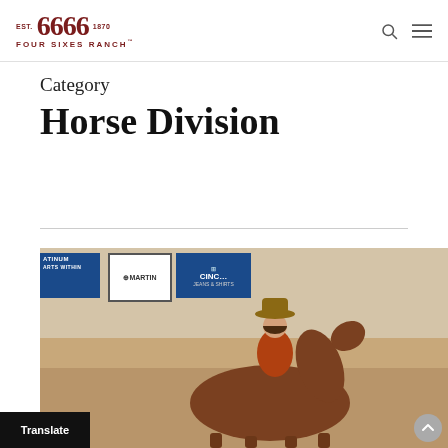Four Sixes Ranch — EST. 6666 1870 — FOUR SIXES RANCH
Category
Horse Division
[Figure (photo): A rider in a red shirt and cowboy hat riding a chestnut horse at an arena competition event. Visible sponsor banners in the background include PLATINUM, Martin, and Cinch Jeans & Shirts.]
Translate